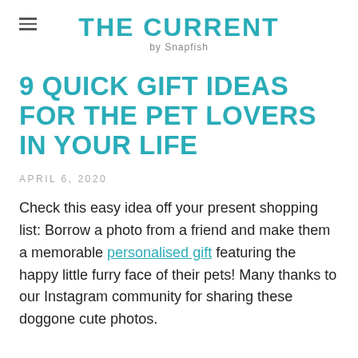THE CURRENT by Snapfish
9 QUICK GIFT IDEAS FOR THE PET LOVERS IN YOUR LIFE
APRIL 6, 2020
Check this easy idea off your present shopping list: Borrow a photo from a friend and make them a memorable personalised gift featuring the happy little furry face of their pets! Many thanks to our Instagram community for sharing these doggone cute photos.